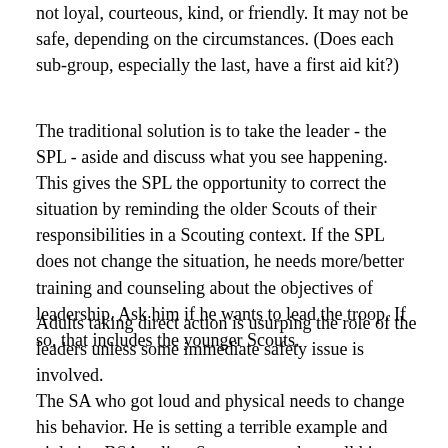not loyal, courteous, kind, or friendly. It may not be safe, depending on the circumstances. (Does each sub-group, especially the last, have a first aid kit?)
The traditional solution is to take the leader - the SPL - aside and discuss what you see happening. This gives the SPL the opportunity to correct the situation by reminding the older Scouts of their responsibilities in a Scouting context. If the SPL does not change the situation, he needs more/better training and counseling about the objectives of leadership. Ask him if he wants to lead the troop. If so, that includes the younger Scouts.
Adults taking direct action is usurping the role of the leaders unless some immediate safety issue is involved.
The SA who got loud and physical needs to change his behavior. He is setting a terrible example and violating BSA policy. Someone needs to tell him that. There is a need to identify